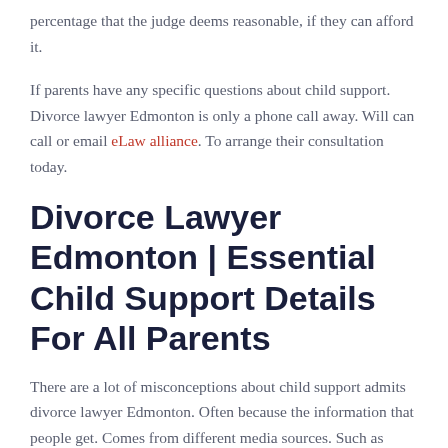percentage that the judge deems reasonable, if they can afford it.
If parents have any specific questions about child support. Divorce lawyer Edmonton is only a phone call away. Will can call or email eLaw alliance. To arrange their consultation today.
Divorce Lawyer Edmonton | Essential Child Support Details For All Parents
There are a lot of misconceptions about child support admits divorce lawyer Edmonton. Often because the information that people get. Comes from different media sources. Such as